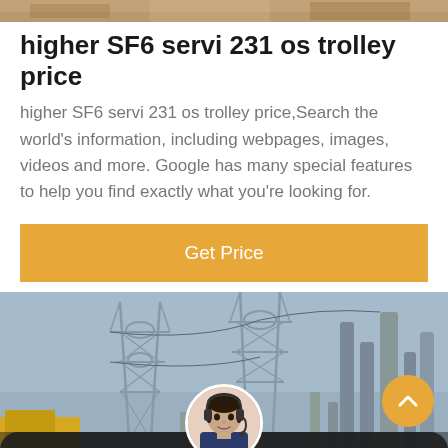[Figure (photo): Top partial photo of a building/structure with warm brownish tones, partially visible at top of page]
higher SF6 servi 231 os trolley price
higher SF6 servi 231 os trolley price,Search the world's information, including webpages, images, videos and more. Google has many special features to help you find exactly what you're looking for.
[Figure (other): Orange 'Get Price' button]
[Figure (photo): Photo of electrical power station/substation with transmission towers and industrial equipment, with a yellow vehicle visible. Overlaid with a circular orange scroll-up button (chevron up arrow), a circular chat agent avatar (woman with headset), and a dark bottom bar with 'Leave Message' on left and 'Chat Online' on right.]